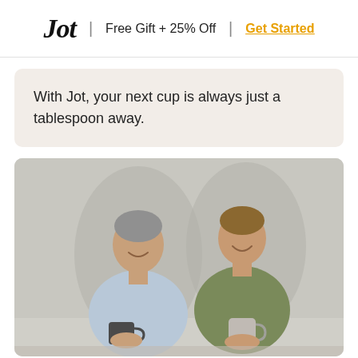Jot | Free Gift + 25% Off | Get Started
With Jot, your next cup is always just a tablespoon away.
[Figure (photo): Two smiling men seated side by side against a light background, each holding a coffee mug. The man on the left wears a light blue t-shirt and holds a dark mug. The man on the right wears an olive green t-shirt and holds a light gray mug.]